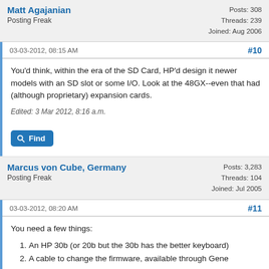Matt Agajanian
Posting Freak
Posts: 308
Threads: 239
Joined: Aug 2006
03-03-2012, 08:15 AM
#10
You'd think, within the era of the SD Card, HP'd design it newer models with an SD slot or some I/O. Look at the 48GX--even that had (although proprietary) expansion cards.
Edited: 3 Mar 2012, 8:16 a.m.
Find
Marcus von Cube, Germany
Posting Freak
Posts: 3,283
Threads: 104
Joined: Jul 2005
03-03-2012, 08:20 AM
#11
You need a few things:
1. An HP 30b (or 20b but the 30b has the better keyboard)
2. A cable to change the firmware, available through Gene